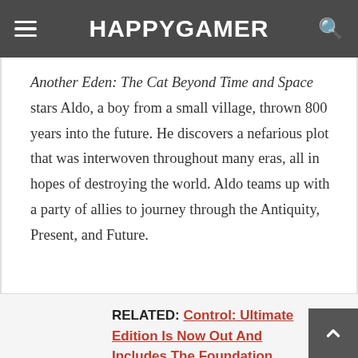HAPPYGAMER
Another Eden: The Cat Beyond Time and Space stars Aldo, a boy from a small village, thrown 800 years into the future. He discovers a nefarious plot that was interwoven throughout many eras, all in hopes of destroying the world. Aldo teams up with a party of allies to journey through the Antiquity, Present, and Future.
RELATED: Control: Ultimate Edition Is Now Out And Includes The Foundation